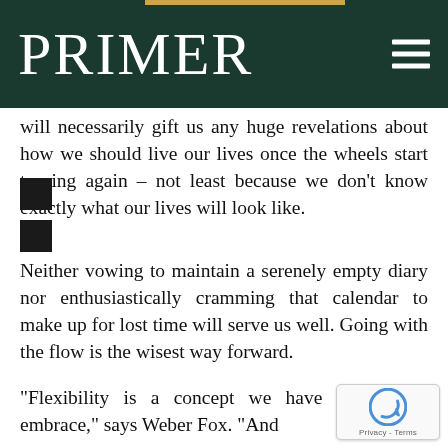PRIMER
will necessarily gift us any huge revelations about how we should live our lives once the wheels start turning again – not least because we don't know exactly what our lives will look like.
Neither vowing to maintain a serenely empty diary nor enthusiastically cramming that calendar to make up for lost time will serve us well. Going with the flow is the wisest way forward.
“Flexibility is a concept we have all had to embrace,” says Weber Fox. “And